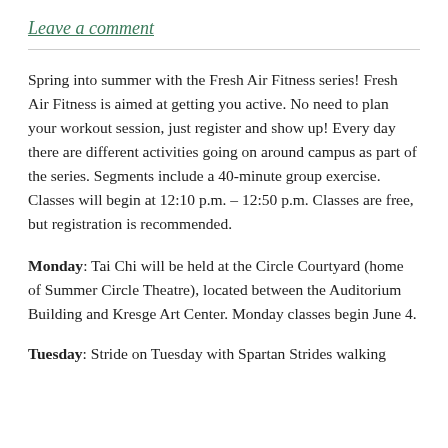Leave a comment
Spring into summer with the Fresh Air Fitness series! Fresh Air Fitness is aimed at getting you active. No need to plan your workout session, just register and show up! Every day there are different activities going on around campus as part of the series. Segments include a 40-minute group exercise. Classes will begin at 12:10 p.m. – 12:50 p.m. Classes are free, but registration is recommended.
Monday: Tai Chi will be held at the Circle Courtyard (home of Summer Circle Theatre), located between the Auditorium Building and Kresge Art Center. Monday classes begin June 4.
Tuesday: Stride on Tuesday with Spartan Strides walking